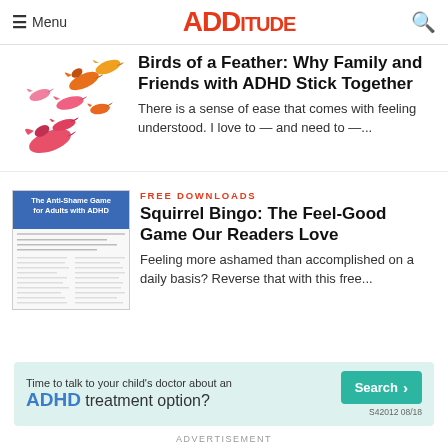Menu | ADDitude
[Figure (illustration): Colorful pink, orange, and yellow birds flying together against white background]
Birds of a Feather: Why Family and Friends with ADHD Stick Together
There is a sense of ease that comes with feeling understood. I love to — and need to —...
FREE DOWNLOADS
[Figure (screenshot): Thumbnail of 'The Anti-Shame Game for Adults with ADHD' document]
Squirrel Bingo: The Feel-Good Game Our Readers Love
Feeling more ashamed than accomplished on a daily basis? Reverse that with this free...
[Figure (infographic): Advertisement banner: Time to talk to your child's doctor about an ADHD treatment option? Search button. S42012 08/18]
ADVERTISEMENT